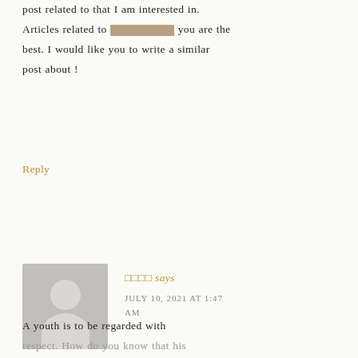post related to that I am interested in. Articles related to ???????? you are the best. I would like you to write a similar post about !
Reply
[Figure (illustration): Gray avatar placeholder showing silhouette of a person (head and shoulders)]
???? says
JULY 10, 2021 AT 1:47 AM
A youth is to be regarded with respect. How do you know that his future will not be equal to our